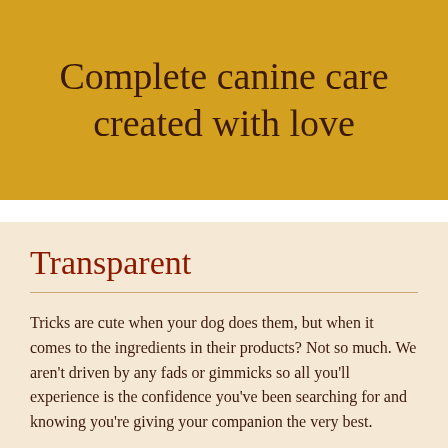Complete canine care created with love
Transparent
Tricks are cute when your dog does them, but when it comes to the ingredients in their products? Not so much. We aren't driven by any fads or gimmicks so all you'll experience is the confidence you've been searching for and knowing you're giving your companion the very best.